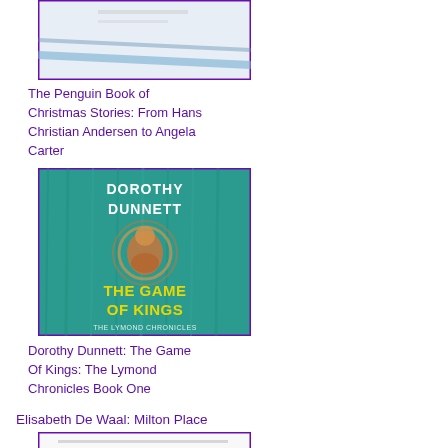[Figure (illustration): Book cover for The Penguin Book of Christmas Stories, partially shown at top, with purple border]
The Penguin Book of Christmas Stories: From Hans Christian Andersen to Angela Carter
[Figure (illustration): Book cover for Dorothy Dunnett: The Game of Kings, teal/turquoise background with medieval figure, yellow title text, purple border]
Dorothy Dunnett: The Game Of Kings: The Lymond Chronicles Book One
Elisabeth De Waal: Milton Place
[Figure (illustration): Partial book cover for Art of Slow W..., white background with purple border, partially visible]